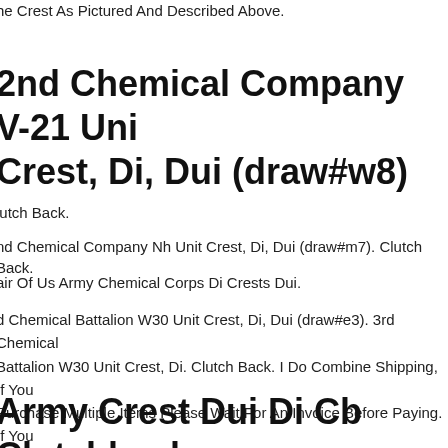he Crest As Pictured And Described Above.
2nd Chemical Company V-21 Unit Crest, Di, Dui (draw#w8)
lutch Back.
nd Chemical Company Nh Unit Crest, Di, Dui (draw#m7). Clutch Back.
air Of Us Army Chemical Corps Di Crests Dui.
d Chemical Battalion W30 Unit Crest, Di, Dui (draw#e3). 3rd Chemical Battalion W30 Unit Crest, Di. Clutch Back. I Do Combine Shipping, If You Purchase Multiple Items Please Wait For An Invoice Before Paying. If You Purchase Over $50.00 Worth Of Unit Crest, Challenge Coins Andor Patches And Live In The United States Shipping Is Free.
Army Crest Dui Di Cb Clutchback